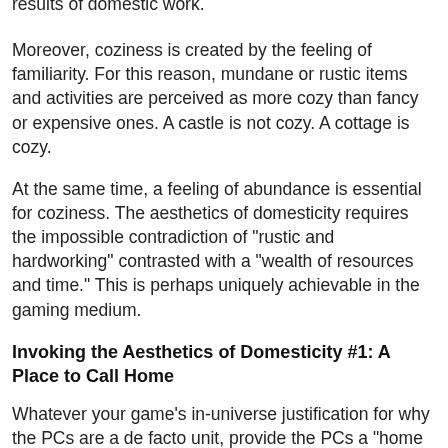results of domestic work.
Moreover, coziness is created by the feeling of familiarity. For this reason, mundane or rustic items and activities are perceived as more cozy than fancy or expensive ones. A castle is not cozy. A cottage is cozy.
At the same time, a feeling of abundance is essential for coziness. The aesthetics of domesticity requires the impossible contradiction of "rustic and hardworking" contrasted with a "wealth of resources and time." This is perhaps uniquely achievable in the gaming medium.
Invoking the Aesthetics of Domesticity #1: A Place to Call Home
Whatever your game's in-universe justification for why the PCs are a de facto unit, provide the PCs a "home base." This gives them a place of safety and retreat in contrast to the challenges they face pursuing their goals. A home base can be a business, a clubhouse, or (obviously) a house.
As the PCs establish their home base, have them define it within the...